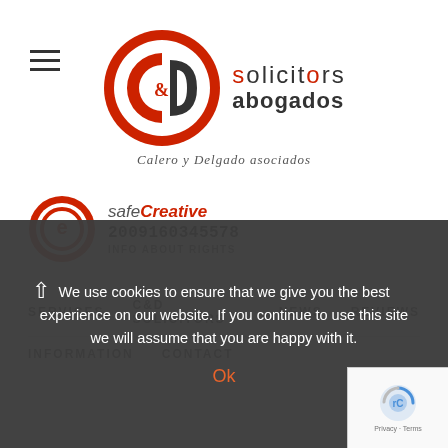[Figure (logo): C&D Solicitors Abogados logo — Calero y Delgado asociados — red circular C&D emblem with text 'solicitors abogados' and subtitle 'Calero y Delgado asociados']
[Figure (logo): SafeCreative badge with red circular icon, text 'safe creative', number '2009160345578', and 'INFO ABOUT RIGHTS']
SERVICES   C&D SOLICITORS   NEWS   REVIEWS   INFORMATION   CONTACT
We use cookies to ensure that we give you the best experience on our website. If you continue to use this site we will assume that you are happy with it.
Ok